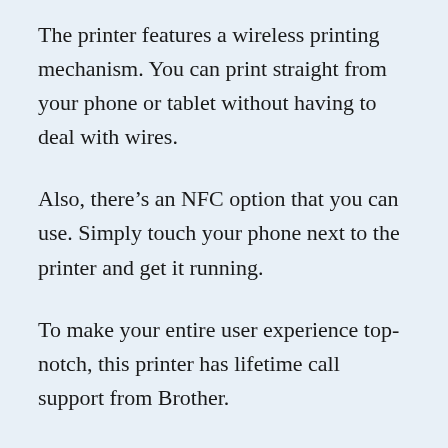The printer features a wireless printing mechanism. You can print straight from your phone or tablet without having to deal with wires.
Also, there’s an NFC option that you can use. Simply touch your phone next to the printer and get it running.
To make your entire user experience top-notch, this printer has lifetime call support from Brother.
Simply call whenever you’re struggling with the printer, and they’ll resolve it for you. You